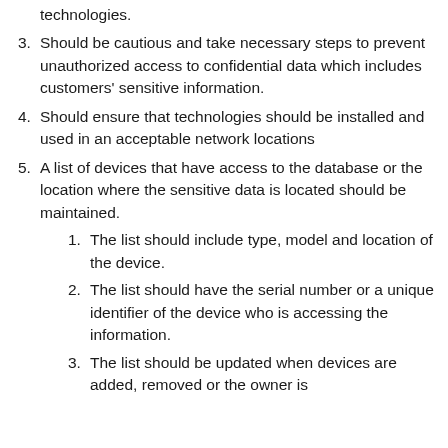technologies.
3. Should be cautious and take necessary steps to prevent unauthorized access to confidential data which includes customers' sensitive information.
4. Should ensure that technologies should be installed and used in an acceptable network locations
5. A list of devices that have access to the database or the location where the sensitive data is located should be maintained.
1. The list should include type, model and location of the device.
2. The list should have the serial number or a unique identifier of the device who is accessing the information.
3. The list should be updated when devices are added, removed or the owner is